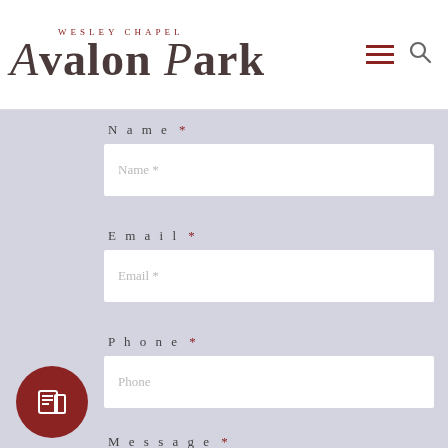[Figure (logo): Wesley Chapel Avalon Park logo with red hamburger menu icon and search icon]
Name *
Name *
Email *
Email *
Phone *
Phone
Message *
Message *
[Figure (illustration): Red circular button with newspaper/document icon]